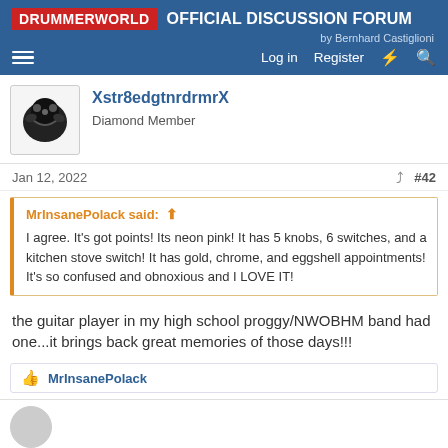DRUMMERWORLD OFFICIAL DISCUSSION FORUM by Bernhard Castiglioni
Xstr8edgtnrdrmrX
Diamond Member
Jan 12, 2022  #42
MrInsanePolack said: ↑
I agree. It's got points! Its neon pink! It has 5 knobs, 6 switches, and a kitchen stove switch! It has gold, chrome, and eggshell appointments! It's so confused and obnoxious and I LOVE IT!
the guitar player in my high school proggy/NWOBHM band had one...it brings back great memories of those days!!!
👍 MrInsanePolack